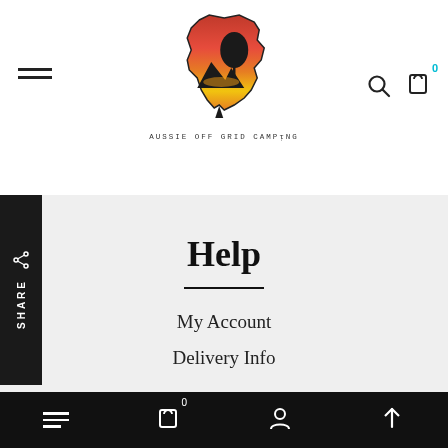[Figure (logo): Aussie Off Grid Camping logo: outline of Australia filled with sunset colors (red, orange, yellow) with a silhouette of trees and mountains, text 'AUSSIE OFF GRID CAMPING' below]
[Figure (other): Share bar on left side with share icon and vertical 'SHARE' text on black background]
Help
My Account
Delivery Info
Bottom navigation bar with hamburger menu, cart (0), account, and scroll-up icons